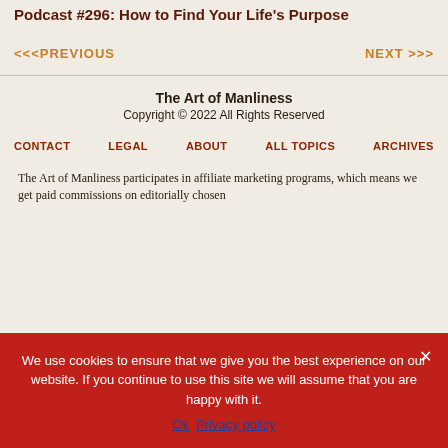Podcast #296: How to Find Your Life's Purpose
<<< PREVIOUS
NEXT >>>
The Art of Manliness
Copyright © 2022 All Rights Reserved
CONTACT
LEGAL
ABOUT
ALL TOPICS
ARCHIVES
The Art of Manliness participates in affiliate marketing programs, which means we get paid commissions on editorially chosen
We use cookies to ensure that we give you the best experience on our website. If you continue to use this site we will assume that you are happy with it.
Ok   Privacy policy